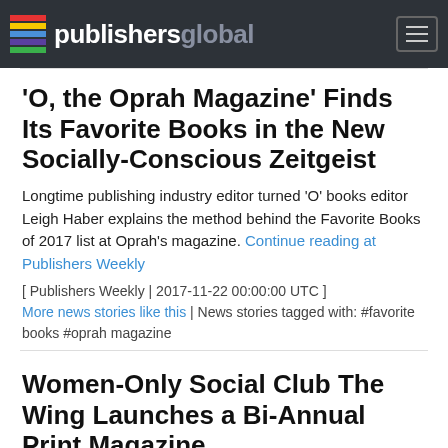publishersglobal
'O, the Oprah Magazine' Finds Its Favorite Books in the New Socially-Conscious Zeitgeist
Longtime publishing industry editor turned 'O' books editor Leigh Haber explains the method behind the Favorite Books of 2017 list at Oprah's magazine. Continue reading at Publishers Weekly
[ Publishers Weekly | 2017-11-22 00:00:00 UTC ]
More news stories like this | News stories tagged with: #favorite books #oprah magazine
Women-Only Social Club The Wing Launches a Bi-Annual Print Magazine
The Wing, a women's-only social club and co-working space with locations in Manhattan, is the latest brand beloved by millennials to embrace the